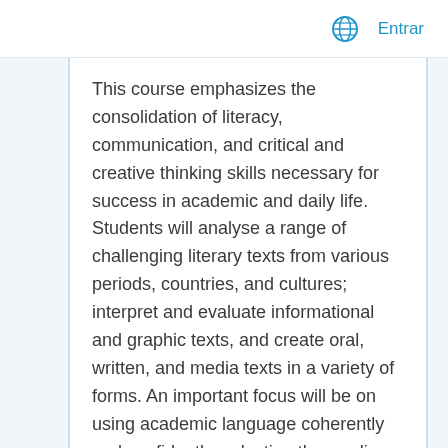Entrar
This course emphasizes the consolidation of literacy, communication, and critical and creative thinking skills necessary for success in academic and daily life. Students will analyse a range of challenging literary texts from various periods, countries, and cultures; interpret and evaluate informational and graphic texts, and create oral, written, and media texts in a variety of forms. An important focus will be on using academic language coherently and confidently, selecting the reading strategies best suited to particular texts and particular purposes for reading, and developing greater